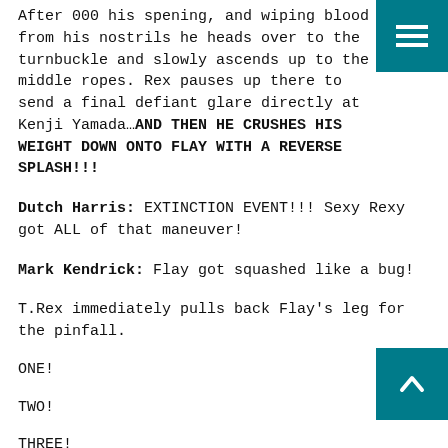After 000 his spening, and wiping blood from his nostrils he heads over to the turnbuckle and slowly ascends up to the middle ropes. Rex pauses up there to send a final defiant glare directly at Kenji Yamada…AND THEN HE CRUSHES HIS WEIGHT DOWN ONTO FLAY WITH A REVERSE SPLASH!!!
Dutch Harris: EXTINCTION EVENT!!! Sexy Rexy got ALL of that maneuver!
Mark Kendrick: Flay got squashed like a bug!
T.Rex immediately pulls back Flay's leg for the pinfall.
ONE!
TWO!
THREE!
Samantha Coil: Here is your winner at a time of twelve